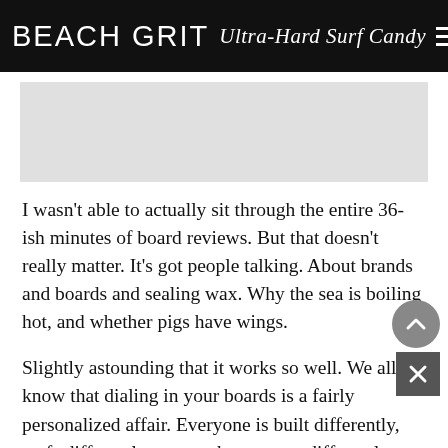BEACH GRIT Ultra-Hard Surf Candy
[Figure (other): Gray placeholder image area]
I wasn't able to actually sit through the entire 36-ish minutes of board reviews. But that doesn't really matter. It's got people talking. About brands and boards and sealing wax. Why the sea is boiling hot, and whether pigs have wings.
Slightly astounding that it works so well. We all know that dialing in your boards is a fairly personalized affair. Everyone is built differently, surfs differently, approaches a wave differently. Watching an amazingly talented surfer go full blind fold while picking through a quiver is entertaining to some. Not to me, but the internet disagrees and I can